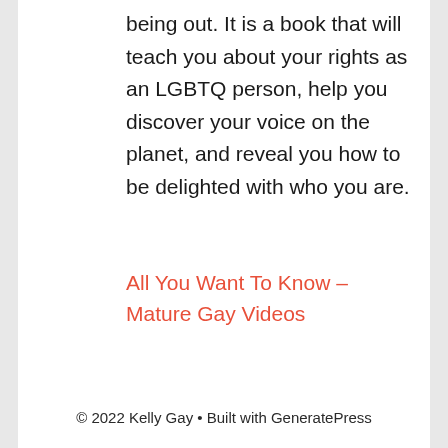being out. It is a book that will teach you about your rights as an LGBTQ person, help you discover your voice on the planet, and reveal you how to be delighted with who you are.
All You Want To Know – Mature Gay Videos
© 2022 Kelly Gay • Built with GeneratePress